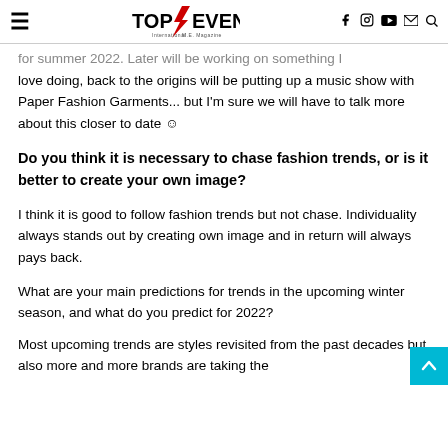TOP EVENT International Magazine
for summer 2022. Later will be working on something I love doing, back to the origins will be putting up a music show with Paper Fashion Garments... but I'm sure we will have to talk more about this closer to date ☺
Do you think it is necessary to chase fashion trends, or is it better to create your own image?
I think it is good to follow fashion trends but not chase. Individuality always stands out by creating own image and in return will always pays back.
What are your main predictions for trends in the upcoming winter season, and what do you predict for 2022?
Most upcoming trends are styles revisited from the past decades but also more and more brands are taking the